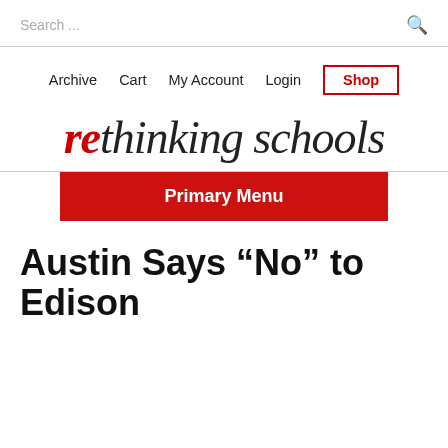Search ...
Archive  Cart  My Account  Login  Shop
rethinking schools
Primary Menu
Austin Says “No” to Edison